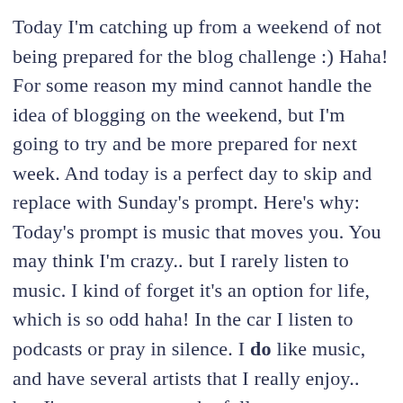Today I'm catching up from a weekend of not being prepared for the blog challenge :) Haha! For some reason my mind cannot handle the idea of blogging on the weekend, but I'm going to try and be more prepared for next week. And today is a perfect day to skip and replace with Sunday's prompt. Here's why: Today's prompt is music that moves you. You may think I'm crazy.. but I rarely listen to music. I kind of forget it's an option for life, which is so odd haha! In the car I listen to podcasts or pray in silence. I do like music, and have several artists that I really enjoy.. but I'm not someone who fully connects to music. I know. I'm weird.